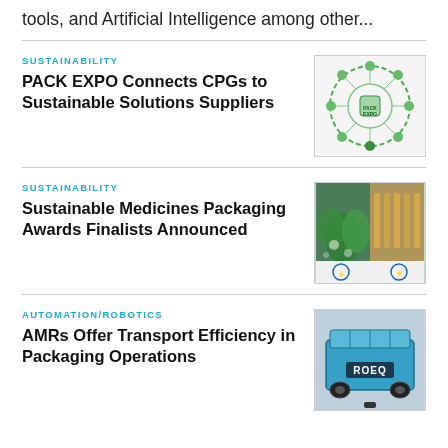tools, and Artificial Intelligence among other...
SUSTAINABILITY
PACK EXPO Connects CPGs to Sustainable Solutions Suppliers
[Figure (illustration): Green circular sustainability diagram with icons and text around a central PACK EXPO logo]
SUSTAINABILITY
Sustainable Medicines Packaging Awards Finalists Announced
[Figure (photo): Photo collage showing green plant leaves and glass medicine vials with award logos at bottom]
AUTOMATION/ROBOTICS
AMRs Offer Transport Efficiency in Packaging Operations
[Figure (photo): Photo of a blue ROEQ autonomous mobile robot (AMR) platform]